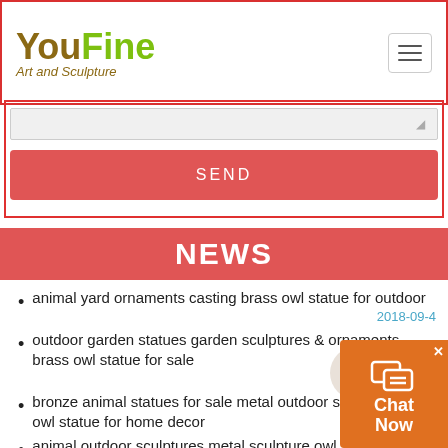YouFine Art and Sculpture
SEND
NEWS
animal yard ornaments casting brass owl statue for outdoor  2018-09-4
outdoor garden statues garden sculptures & ornaments brass owl statue for sale  2018-09-4
bronze animal statues for sale metal outdoor sculpt... brass owl statue for home decor  2018-09-4
animal outdoor sculptures metal sculpture owl statu... sale  2018-09-4